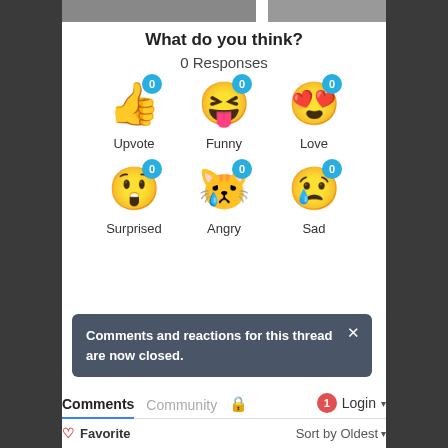[Figure (screenshot): Partial top images bar showing two images cropped]
What do you think?
0 Responses
[Figure (infographic): Six emoji reaction buttons each showing 0 count: Upvote (thumbs up), Funny (laughing), Love (heart eyes), Surprised (shocked face), Angry (crying face), Sad (sad with tear). Each has a blue badge showing 0.]
Comments and reactions for this thread are now closed.
Comments  Community  🔒  1  Login ▾
♡ Favorite  Sort by Oldest ▾